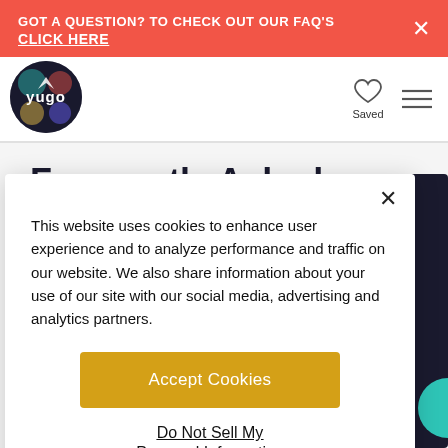GOT A QUESTION? TO CHECK OUT OUR FAQ'S CLICK HERE
[Figure (logo): Yugo logo - circular badge with colorful design]
Frequently Asked
This website uses cookies to enhance user experience and to analyze performance and traffic on our website. We also share information about your use of our site with our social media, advertising and analytics partners.
Accept Cookies
Do Not Sell My Personal Information